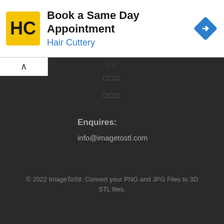[Figure (screenshot): Advertisement banner for Hair Cuttery showing logo, 'Book a Same Day Appointment' title, blue navigation icon on right]
Book a Same Day Appointment
Hair Cuttery
□□□
□□□
Enquires:
info@imagetostl.com
© 2022 ImageToStl. Convert your PNG and JPG Files to 3D STL files.